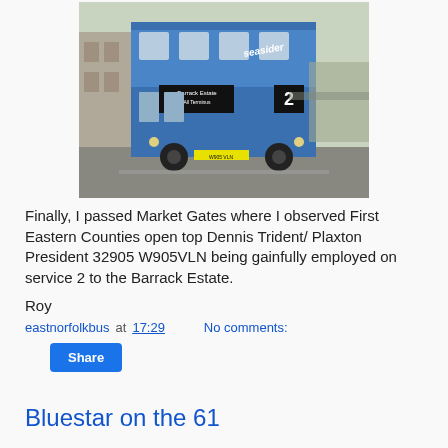[Figure (photo): A blue open-top double-decker bus (First Eastern Counties Dennis Trident/Plaxton President 32905 W905VLN) on service 2 to the Barrack Estate, parked near Market Gates with buildings in the background. The bus displays 'seasider' branding.]
Finally, I passed Market Gates where I observed First Eastern Counties open top Dennis Trident/ Plaxton President 32905 W905VLN being gainfully employed on service 2 to the Barrack Estate.
Roy
eastnorfolkbus at 17:29    No comments:
Share
Bluestar on the 61